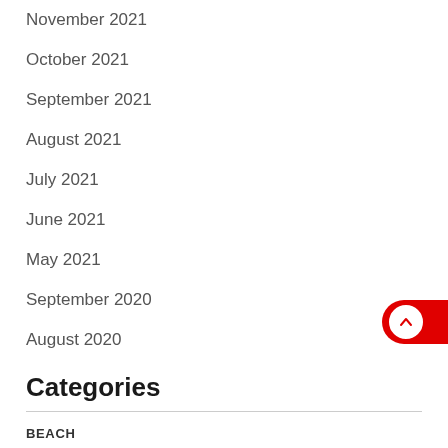November 2021
October 2021
September 2021
August 2021
July 2021
June 2021
May 2021
September 2020
August 2020
Categories
BEACH